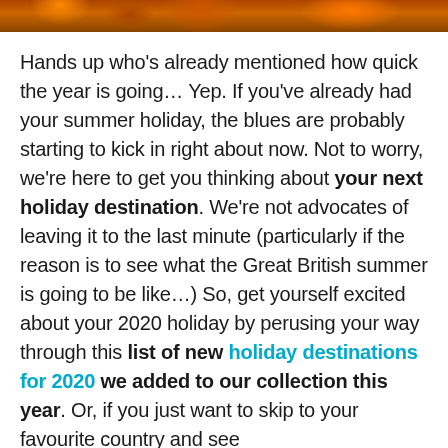[Figure (photo): Autumn foliage header image in orange and brown tones]
Hands up who's already mentioned how quick the year is going… Yep. If you've already had your summer holiday, the blues are probably starting to kick in right about now. Not to worry, we're here to get you thinking about your next holiday destination. We're not advocates of leaving it to the last minute (particularly if the reason is to see what the Great British summer is going to be like…) So, get yourself excited about your 2020 holiday by perusing your way through this list of new holiday destinations for 2020 we added to our collection this year. Or, if you just want to skip to your favourite country and see